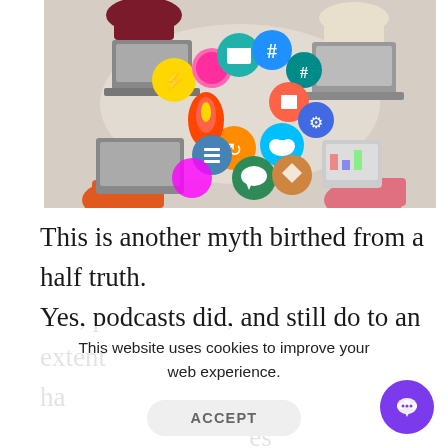[Figure (photo): Overhead view of people around a table with laptops and colorful social media icon circles/buttons spread on the table surface]
This is another myth birthed from a half truth. Yes, podcasts did, and still do to an extent, have... es to l... bee... some great progress made in that regard.
This website uses cookies to improve your web experience.
ACCEPT